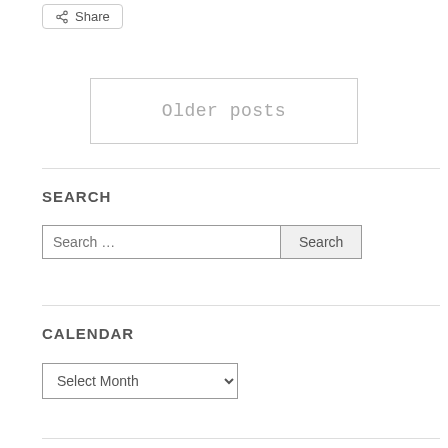Share
Older posts
SEARCH
Search …  Search
CALENDAR
Select Month